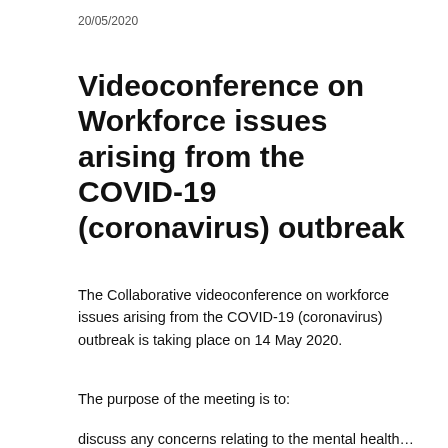20/05/2020
Videoconference on Workforce issues arising from the COVID-19 (coronavirus) outbreak
The Collaborative videoconference on workforce issues arising from the COVID-19 (coronavirus) outbreak is taking place on 14 May 2020.
The purpose of the meeting is to:
discuss any concerns relating to the mental health…